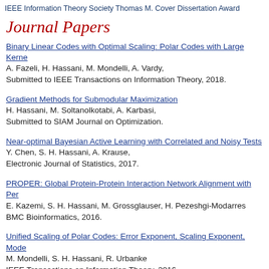IEEE Information Theory Society Thomas M. Cover Dissertation Award
Journal Papers
Binary Linear Codes with Optimal Scaling: Polar Codes with Large Kernels
A. Fazeli, H. Hassani, M. Mondelli, A. Vardy,
Submitted to IEEE Transactions on Information Theory, 2018.
Gradient Methods for Submodular Maximization
H. Hassani, M. Soltanolkotabi, A. Karbasi,
Submitted to SIAM Journal on Optimization.
Near-optimal Bayesian Active Learning with Correlated and Noisy Tests
Y. Chen, S. H. Hassani, A. Krause,
Electronic Journal of Statistics, 2017.
PROPER: Global Protein-Protein Interaction Network Alignment with Percolation
E. Kazemi, S. H. Hassani, M. Grossglauser, H. Pezeshgi-Modarres
BMC Bioinformatics, 2016.
Unified Scaling of Polar Codes: Error Exponent, Scaling Exponent, Moderate Deviations
M. Mondelli, S. H. Hassani, R. Urbanke
IEEE Transactions on Information Theory, 2016.
Growing a Graph Matching from a Handful of Seeds